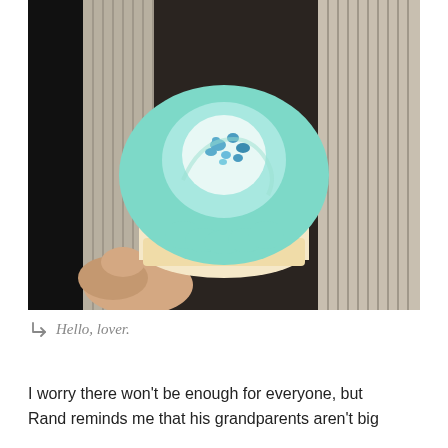[Figure (photo): A photograph of a cupcake with light teal/mint frosting held in a hand over a clear plastic container tray. The cupcake has a swirled frosting with a lighter center and blue sugar crystal sprinkles on top.]
Hello, lover.
I worry there won't be enough for everyone, but Rand reminds me that his grandparents aren't big